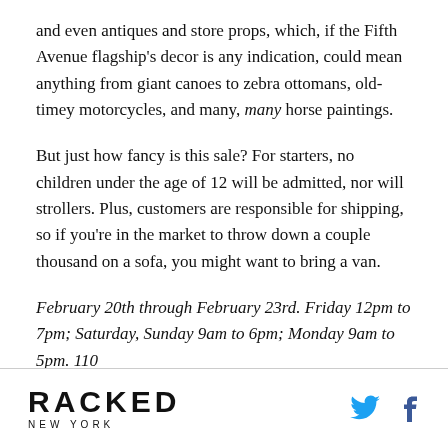and even antiques and store props, which, if the Fifth Avenue flagship's decor is any indication, could mean anything from giant canoes to zebra ottomans, old-timey motorcycles, and many, many horse paintings.
But just how fancy is this sale? For starters, no children under the age of 12 will be admitted, nor will strollers. Plus, customers are responsible for shipping, so if you're in the market to throw down a couple thousand on a sofa, you might want to bring a van.
February 20th through February 23rd. Friday 12pm to 7pm; Saturday, Sunday 9am to 6pm; Monday 9am to 5pm. 110
RACKED NEW YORK